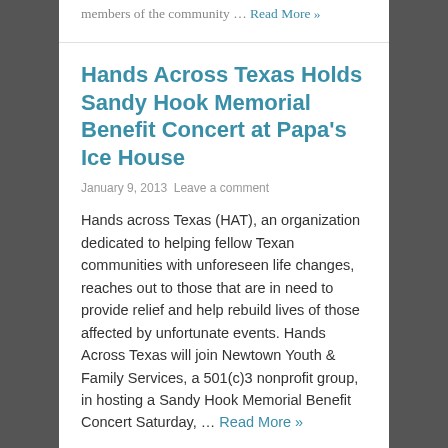members of the community … Read More »
Hands Across Texas Holds Sandy Hook Memorial Benefit Concert at Papa's Ice House
January 9, 2013 Leave a comment
Hands across Texas (HAT), an organization dedicated to helping fellow Texan communities with unforeseen life changes, reaches out to those that are in need to provide relief and help rebuild lives of those affected by unfortunate events. Hands Across Texas will join Newtown Youth & Family Services, a 501(c)3 nonprofit group, in hosting a Sandy Hook Memorial Benefit Concert Saturday, … Read More »